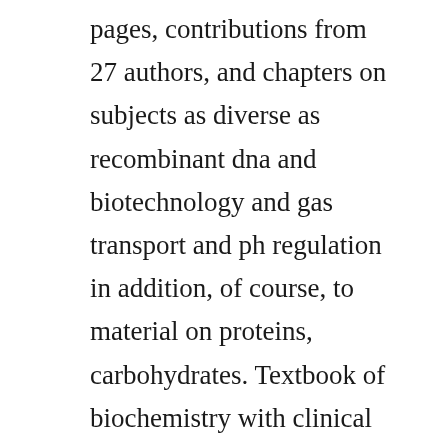pages, contributions from 27 authors, and chapters on subjects as diverse as recombinant dna and biotechnology and gas transport and ph regulation in addition, of course, to material on proteins, carbohydrates. Textbook of biochemistry with clinical correlations 7th edition pdf. Textbook of biochemistry, with clinical correlations. This revision of brs biochemistry, molecular biology, and genetics includes additional highyield material to help the reader master clinical principles of medical biochemistry as they prepare for the revamped step 1 usmle. Textbook of